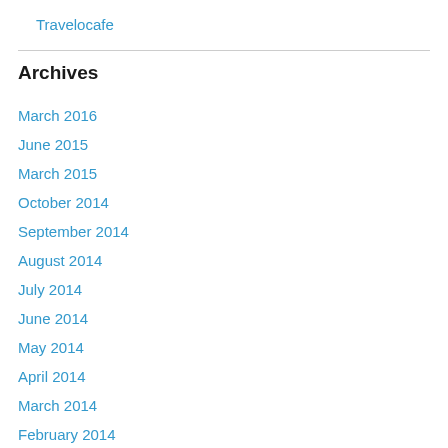Travelocafe
Archives
March 2016
June 2015
March 2015
October 2014
September 2014
August 2014
July 2014
June 2014
May 2014
April 2014
March 2014
February 2014
January 2014
December 2013
November 2013